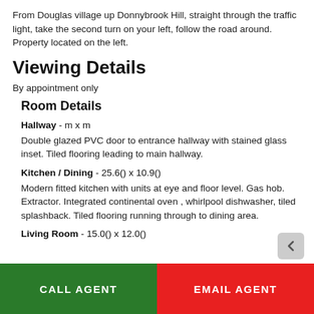From Douglas village up Donnybrook Hill, straight through the traffic light, take the second turn on your left, follow the road around. Property located on the left.
Viewing Details
By appointment only
Room Details
Hallway - m x m
Double glazed PVC door to entrance hallway with stained glass inset. Tiled flooring leading to main hallway.
Kitchen / Dining - 25.6() x 10.9()
Modern fitted kitchen with units at eye and floor level. Gas hob. Extractor. Integrated continental oven , whirlpool dishwasher, tiled splashback. Tiled flooring running through to dining area.
Living Room - 15.0() x 12.0()
CALL AGENT | EMAIL AGENT